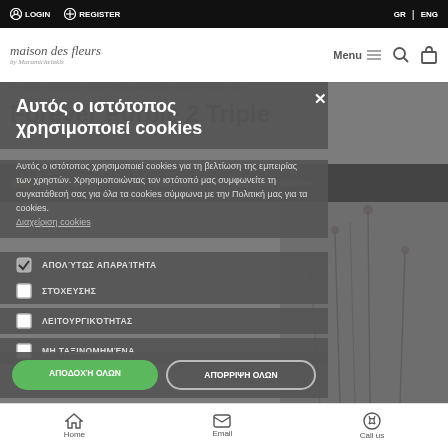LOGIN   REGISTER   GR | ENG
[Figure (screenshot): Maison des fleurs website header with logo, Menu button, search and cart icons]
text home | Valentine's | Forever Roses Valentine's | Forever Purple 2 Triple
Forever Purple 2 Triple
Free shipping to Athens, Piraeus and many other municipalities.
Αυτός ο ιστότοπος χρησιμοποιεί cookies
Αυτός ο ιστότοπος χρησιμοποιεί cookies για τη βελτίωση της εμπειρίας των χρηστών. Χρησιμοποιώντας τον ιστότοπό μας συμφωνείτε τη συγκατάθεσή σας για όλα τα cookies σύμφωνα με την Πολιτική μας για τα cookies.
Διαχείριση cookies
☑ ΑΠΟΛΎΤΩΣ ΑΠΑΡΑΊΤΗΤΑ
☐ ΣΤΌΧΕΥΣΗΣ
☐ ΛΕΙΤΟΥΡΓΙΚΌΤΗΤΑΣ
☐ ΜΗ ΤΑΞΙΝΟΜΗΜΈΝΑ
ΑΠΟΔΟΧΉ ΟΛΩΝ   ΑΠΌΡΡΙΨΗ ΟΛΩΝ
Home   Email   Call us